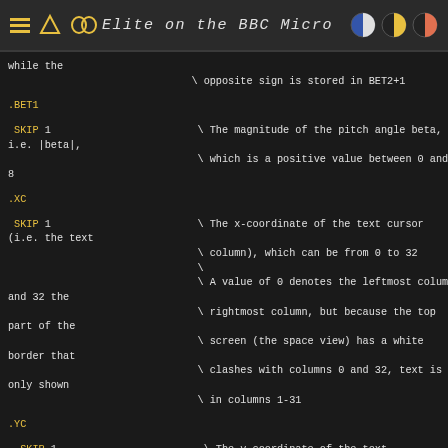Elite on the BBC Micro
while the
                              \ opposite sign is stored in BET2+1

.BET1

 SKIP 1                        \ The magnitude of the pitch angle beta,
i.e. |beta|,
                               \ which is a positive value between 0 and
8

.XC

 SKIP 1                        \ The x-coordinate of the text cursor
(i.e. the text
                               \ column), which can be from 0 to 32
                               \
                               \ A value of 0 denotes the leftmost column
and 32 the
                               \ rightmost column, but because the top
part of the
                               \ screen (the space view) has a white
border that
                               \ clashes with columns 0 and 32, text is
only shown
                               \ in columns 1-31

.YC

.SKIP 1                        \ The y-coordinate of the text...